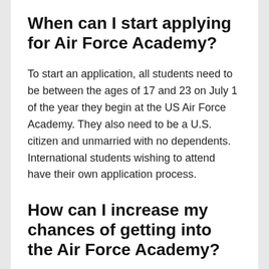When can I start applying for Air Force Academy?
To start an application, all students need to be between the ages of 17 and 23 on July 1 of the year they begin at the US Air Force Academy. They also need to be a U.S. citizen and unmarried with no dependents. International students wishing to attend have their own application process.
How can I increase my chances of getting into the Air Force Academy?